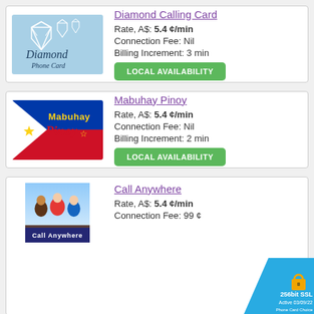[Figure (illustration): Diamond Phone Card - light blue card with diamond icons and cursive text]
Diamond Calling Card — Rate, A$: 5.4 ¢/min — Connection Fee: Nil — Billing Increment: 3 min — LOCAL AVAILABILITY
[Figure (illustration): Mabuhay Pinoy - card with Philippine flag design, red, blue, white and gold colors]
Mabuhay Pinoy — Rate, A$: 5.4 ¢/min — Connection Fee: Nil — Billing Increment: 2 min — LOCAL AVAILABILITY
[Figure (illustration): Call Anywhere - card with group of people photo]
Call Anywhere — Rate, A$: 5.4 ¢/min — Connection Fee: 99 ¢
[Figure (logo): 256bit SSL Active 03/09/22 Phone Card Choice badge]